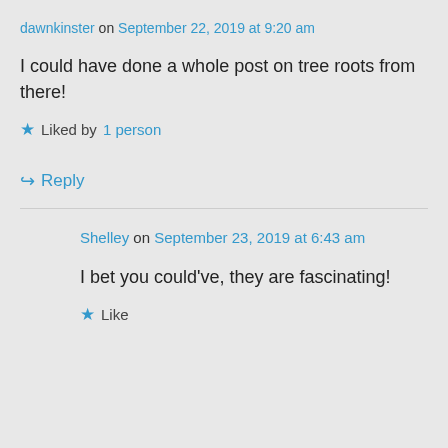dawnkinster on September 22, 2019 at 9:20 am
I could have done a whole post on tree roots from there!
★ Liked by 1 person
↪ Reply
Shelley on September 23, 2019 at 6:43 am
I bet you could've, they are fascinating!
★ Like